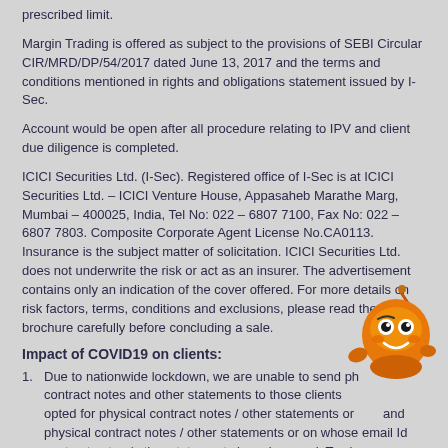prescribed limit.
Margin Trading is offered as subject to the provisions of SEBI Circular CIR/MRD/DP/54/2017 dated June 13, 2017 and the terms and conditions mentioned in rights and obligations statement issued by I-Sec.
Account would be open after all procedure relating to IPV and client due diligence is completed.
ICICI Securities Ltd. (I-Sec). Registered office of I-Sec is at ICICI Securities Ltd. – ICICI Venture House, Appasaheb Marathe Marg, Mumbai – 400025, India, Tel No: 022 – 6807 7100, Fax No: 022 – 6807 7803. Composite Corporate Agent License No.CA0113. Insurance is the subject matter of solicitation. ICICI Securities Ltd. does not underwrite the risk or act as an insurer. The advertisement contains only an indication of the cover offered. For more details on risk factors, terms, conditions and exclusions, please read the sales brochure carefully before concluding a sale.
Impact of COVID19 on clients:
Due to nationwide lockdown, we are unable to send physical contract notes and other statements to those clients who have opted for physical contract notes / other statements or and physical contract notes / other statements or on whose email Id contract notes / other statements have bounced. To view
[Figure (illustration): Orange cartoon robot mascot character with a friendly face, pointing or gesturing]